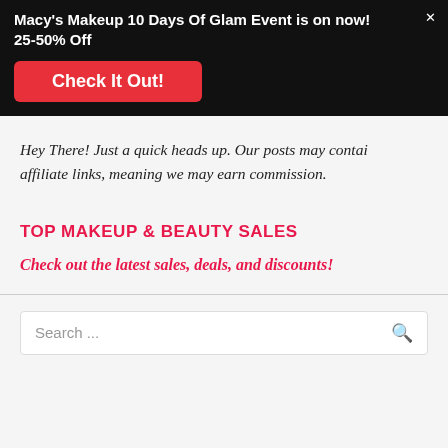Macy's Makeup 10 Days Of Glam Event is on now! 25-50% Off
[Figure (other): Red button with text 'Check It Out!']
Hey There! Just a quick heads up. Our posts may contain affiliate links, meaning we may earn commission.
TOP MAKEUP & BEAUTY SALES
Check out the latest sales, deals, and discounts!
Search ...